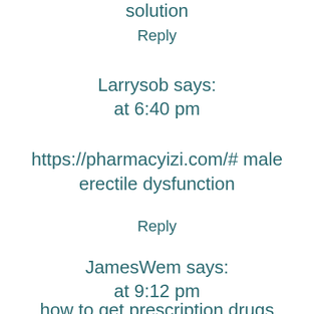solution
Reply
Larrysob says:
at 6:40 pm
https://pharmacyizi.com/# male erectile dysfunction
Reply
JamesWem says:
at 9:12 pm
how to get prescription drugs